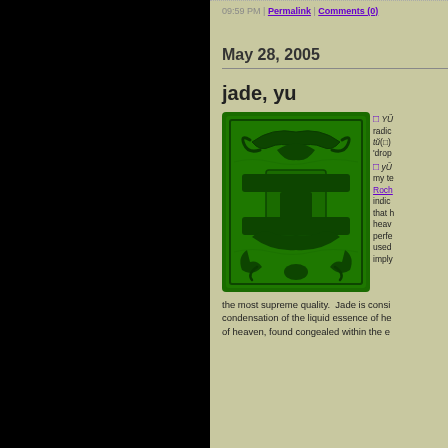09:59 PM | Permalink | Comments (0)
May 28, 2005
jade, yu
[Figure (photo): Green jade carving with intricate raised patterns on a dark green background]
□ YÜ radical tŭ(□) 'drop □ yŬ my te Roch indic that hea perfe used impl the most supreme quality. Jade is consi condensation of the liquid essence of he of heaven, found congealed within the e